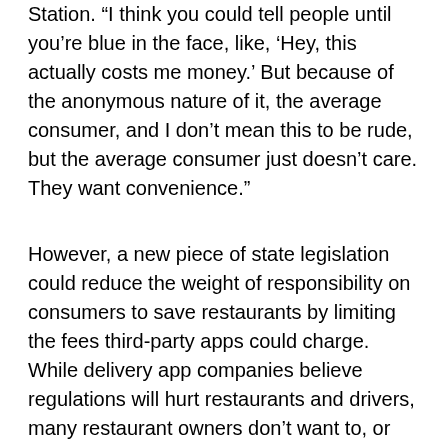Station.  “I think you could tell people until you’re blue in the face, like, ‘Hey, this actually costs me money.’ But because of the anonymous nature of it, the average consumer, and I don’t mean this to be rude, but the average consumer just doesn’t care. They want convenience.”
However, a new piece of state legislation could reduce the weight of responsibility on consumers to save restaurants by limiting the fees third-party apps could charge. While delivery app companies believe regulations will hurt restaurants and drivers, many restaurant owners don’t want to, or can’t, sustain the lost margins from high delivery fees. Some restaurants have found alternatives to national third-party apps, but not all restaurants